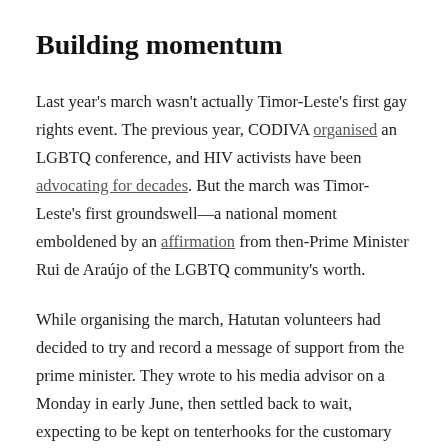Building momentum
Last year's march wasn't actually Timor-Leste's first gay rights event. The previous year, CODIVA organised an LGBTQ conference, and HIV activists have been advocating for decades. But the march was Timor-Leste's first groundswell—a national moment emboldened by an affirmation from then-Prime Minister Rui de Araújo of the LGBTQ community's worth.
While organising the march, Hatutan volunteers had decided to try and record a message of support from the prime minister. They wrote to his media advisor on a Monday in early June, then settled back to wait, expecting to be kept on tenterhooks for the customary